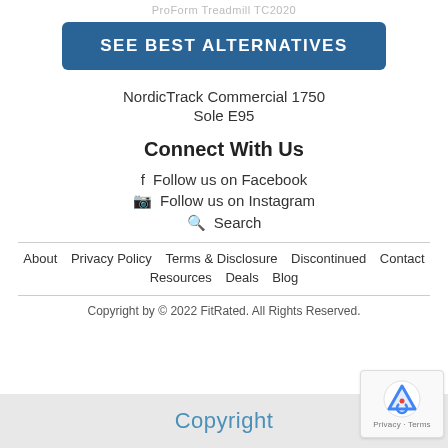ProForm Treadmill TC2020
[Figure (other): Blue button with text SEE BEST ALTERNATIVES]
NordicTrack Commercial 1750
Sole E95
Connect With Us
Follow us on Facebook
Follow us on Instagram
Search
About  Privacy Policy  Terms & Disclosure  Discontinued  Contact  Resources  Deals  Blog
Copyright by © 2022 FitRated. All Rights Reserved.
Copyright